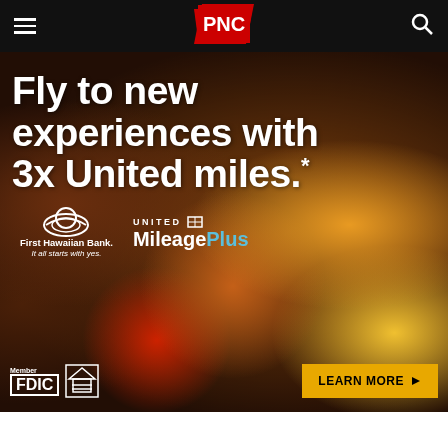[Figure (logo): PNC Bank navigation bar with hamburger menu, PNC logo on red diamond shape, and search icon on black background]
[Figure (infographic): PNC Bank advertisement banner with food/fruit basket background photo showing text: 'Fly to new experiences with 3x United miles.*' with First Hawaiian Bank logo, United MileagePlus logo, Member FDIC, Equal Housing logo, and LEARN MORE button]